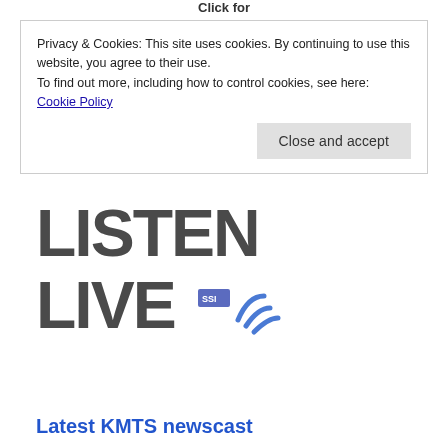Click for
Privacy & Cookies: This site uses cookies. By continuing to use this website, you agree to their use.
To find out more, including how to control cookies, see here:
Cookie Policy
Close and accept
[Figure (logo): LISTEN LIVE logo with SSI wifi signal waves icon in blue]
Latest KMTS newscast